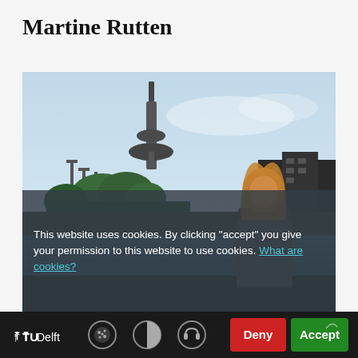Martine Rutten
[Figure (photo): Outdoor photo of a person (Martine Rutten) standing in front of a waterway with the Euromast tower visible in the background, Rotterdam skyline, trees and buildings on the right.]
This website uses cookies. By clicking "accept" you give your permission to this website to use cookies. What are cookies?
[Figure (screenshot): Bottom navigation bar with TU Delft logo, cookie icon, contrast icon, audio icon, Deny button (red), and Accept button (green).]